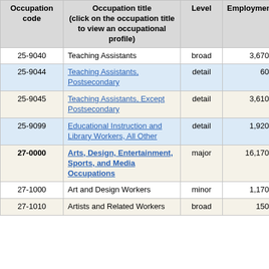| Occupation code | Occupation title (click on the occupation title to view an occupational profile) | Level | Employment | Employment RSE |
| --- | --- | --- | --- | --- |
| 25-9040 | Teaching Assistants | broad | 3,670 | 0 |
| 25-9044 | Teaching Assistants, Postsecondary | detail | 60 | 0 |
| 25-9045 | Teaching Assistants, Except Postsecondary | detail | 3,610 | 0 |
| 25-9099 | Educational Instruction and Library Workers, All Other | detail | 1,920 | 0 |
| 27-0000 | Arts, Design, Entertainment, Sports, and Media Occupations | major | 16,170 | 0 |
| 27-1000 | Art and Design Workers | minor | 1,170 | 0 |
| 27-1010 | Artists and Related Workers | broad | 150 | 0 |